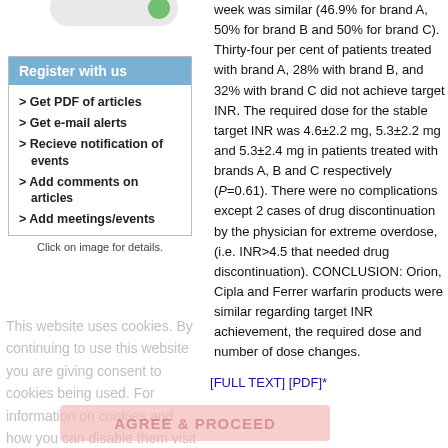[Figure (other): Partial circular/button graphic visible at top of left column]
Register with us
> Get PDF of articles
> Get e-mail alerts
> Recieve notification of events
> Add comments on articles
> Add meetings/events
Click on image for details.
week was similar (46.9% for brand A, 50% for brand B and 50% for brand C). Thirty-four per cent of patients treated with brand A, 28% with brand B, and 32% with brand C did not achieve target INR. The required dose for the stable target INR was 4.6±2.2 mg, 5.3±2.2 mg and 5.3±2.4 mg in patients treated with brands A, B and C respectively (P=0.61). There were no complications except 2 cases of drug discontinuation by the physician for extreme overdose, (i.e. INR>4.5 that needed drug discontinuation). CONCLUSION: Orion, Cipla and Ferrer warfarin products were similar regarding target INR achievement, the required dose and number of dose changes.
This website uses cookies. By continuing to use this website you are giving consent to cookies being used. For information on cookies and how you can disable them visit our Privacy and Cookie Policy.
AGREE & PROCEED
[FULL TEXT] [PDF]*